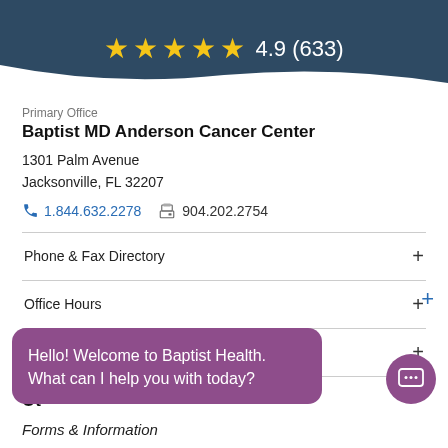4.9 (633)
Primary Office
Baptist MD Anderson Cancer Center
1301 Palm Avenue
Jacksonville, FL 32207
1.844.632.2278   904.202.2754
Phone & Fax Directory
Office Hours
Providers at This Location
Other Offices
Hello! Welcome to Baptist Health. What can I help you with today?
Forms & Information